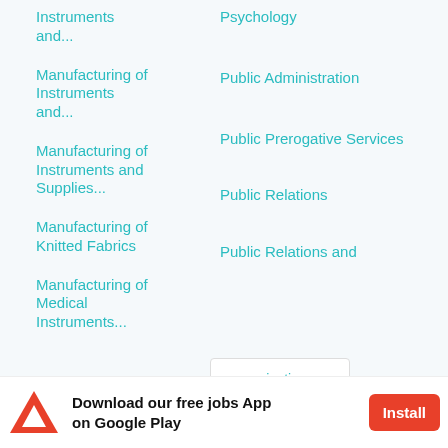Instruments and...
Psychology
Manufacturing of Instruments and...
Public Administration
Manufacturing of Instruments and Supplies...
Public Prerogative Services
Manufacturing of Knitted Fabrics
Public Relations
Manufacturing of Medical Instruments...
Public Relations and Communication...
[Figure (screenshot): Dropdown overlay showing arrow and partial text 'munication...' in teal]
Download our free jobs App on Google Play
Install